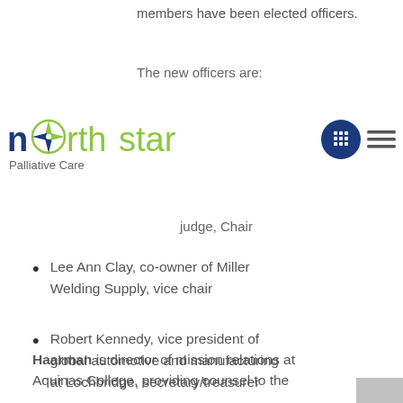members have been elected officers.
The new officers are:
[Figure (logo): Northstar Palliative Care logo with compass star icon, 'north' in dark blue bold, 'star' in green, and 'Palliative Care' subtitle below]
[Figure (other): Navigation icons: dark blue circle with phone/keypad icon, and hamburger menu lines]
judge, Chair
Lee Ann Clay, co-owner of Miller Welding Supply, vice chair
Robert Kennedy, vice president of global automotive and manufacturing at Lochbridge, secretary/treasurer
Haarman is director of mission relations at Aquinas College, providing counsel to the